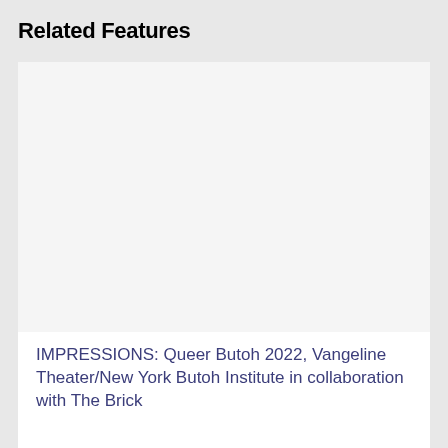Related Features
[Figure (photo): White/blank image card area for a related feature article]
IMPRESSIONS: Queer Butoh 2022, Vangeline Theater/New York Butoh Institute in collaboration with The Brick